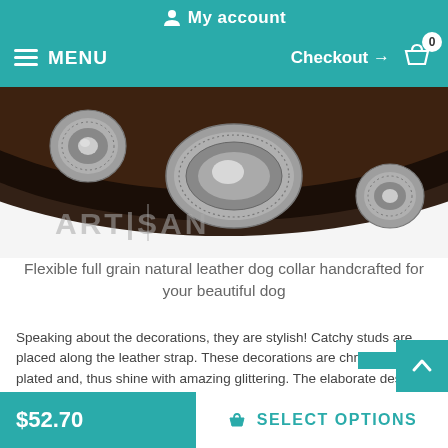My account
MENU   Checkout → 0
[Figure (photo): Close-up of a dark brown leather dog collar with ornate silver oval and round concho studs. An 'ARTISAN' watermark logo is visible on the lower left of the image.]
Flexible full grain natural leather dog collar handcrafted for your beautiful dog
Speaking about the decorations, they are stylish! Catchy studs are placed along the leather strap. These decorations are chrome plated and, thus shine with amazing glittering. The elaborate design of this accessory is truly unique and individual. By to the
$52.70   SELECT OPTIONS